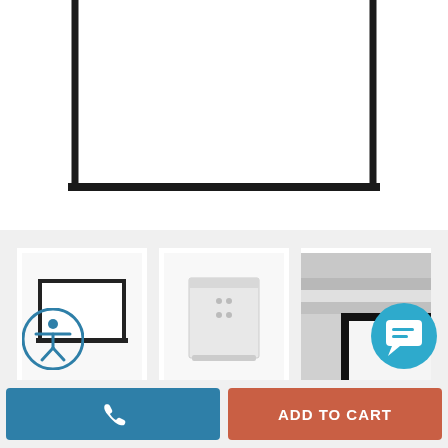[Figure (photo): Main product image showing a projection screen with black border/frame mounted or displayed against a white background, partially cropped at top]
[Figure (photo): Thumbnail 1: Small projection screen shown rolled up/mounted, white surface with black border frame]
[Figure (photo): Thumbnail 2: White rectangular box/housing unit for projection screen mechanism]
[Figure (photo): Thumbnail 3: Close-up detail of projection screen corner/edge with black frame against gray background]